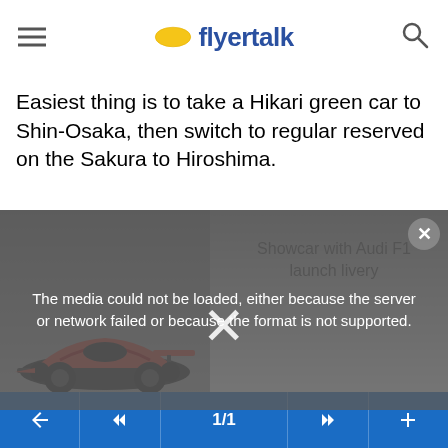flyertalk
Easiest thing is to take a Hikari green car to Shin-Osaka, then switch to regular reserved on the Sakura to Hiroshima.
[Figure (screenshot): Video player showing an F1 race car (red, with Audi F1 launch livery) on the left half, gray gradient background on right, with an error overlay: 'The media could not be loaded, either because the server or network failed or because the format is not supported.' A large white X appears in the center. Caption text 'Showcar with Audi F1 launch livery' appears on the right side. A circular close button (x) is in the top right corner.]
1/1